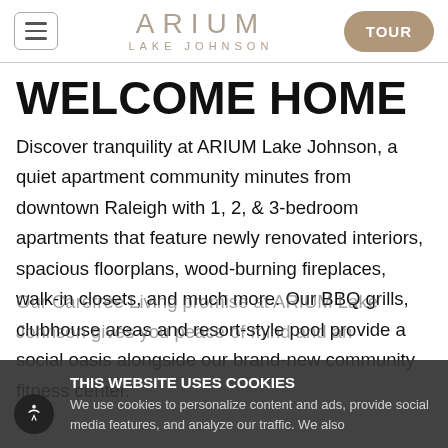ARIUM LAKE JOHNSON — TOUR
WELCOME HOME
Discover tranquility at ARIUM Lake Johnson, a quiet apartment community minutes from downtown Raleigh with 1, 2, & 3-bedroom apartments that feature newly renovated interiors, spacious floorplans, wood-burning fireplaces, walk-in closets, and much more. Our BBQ grills, clubhouse areas and resort-style pool provide a social oasis alongside our brand-new community fitness center.
Our Carefree Living promise at ARIUM Lake Johnson gives you peace of mind and an
THIS WEBSITE USES COOKIES
We use cookies to personalize content and ads, provide social media features, and analyze our traffic. We also